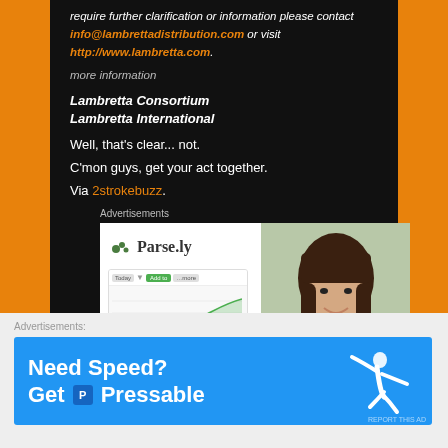require further clarification or information please contact info@lambrettadistribution.com or visit http://www.lambretta.com.
more information
Lambretta Consortium
Lambretta International
Well, that's clear... not.
C'mon guys, get your act together.
Via 2strokebuzz.
Advertisements
[Figure (screenshot): Parse.ly advertisement with logo, screenshot of analytics dashboard, and woman in green sweater]
Advertisements
[Figure (infographic): Pressable 'Need Speed? Get Pressable' blue banner advertisement with running figure]